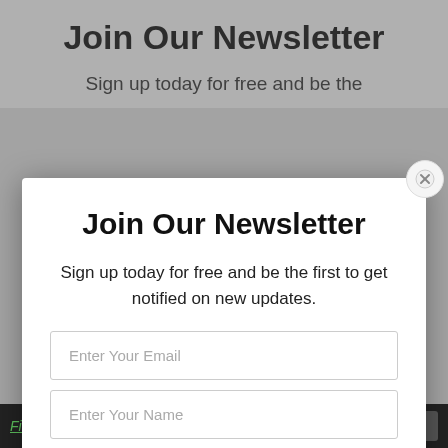Join Our Newsletter
Sign up today for free and be the
[Figure (screenshot): Newsletter subscription modal popup with close button, title 'Join Our Newsletter', descriptive text, email input, name input, green Subscribe button, and privacy note.]
Join Our Newsletter
Sign up today for free and be the first to get notified on new updates.
Enter Your Email
Enter Your Name
SUBSCRIBE
We do not sell or share your information with anyone.
Financial Marke… optimonster